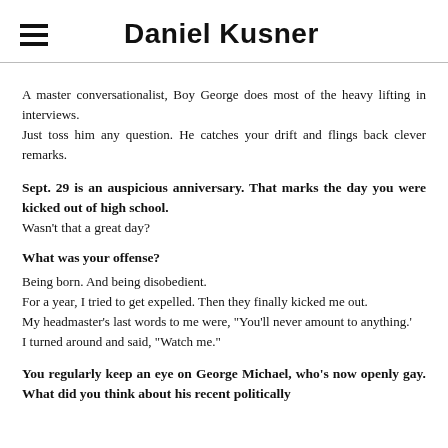Daniel Kusner
A master conversationalist, Boy George does most of the heavy lifting in interviews.
Just toss him any question. He catches your drift and flings back clever remarks.
Sept. 29 is an auspicious anniversary. That marks the day you were kicked out of high school.
Wasn't that a great day?
What was your offense?
Being born. And being disobedient.
For a year, I tried to get expelled. Then they finally kicked me out.
My headmaster's last words to me were, "You'll never amount to anything.'
I turned around and said, "Watch me."
You regularly keep an eye on George Michael, who's now openly gay. What did you think about his recent politically